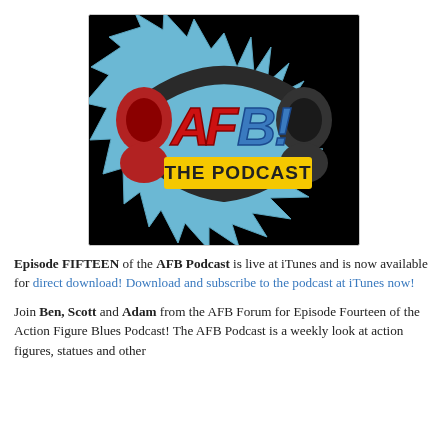[Figure (logo): AFB! The Podcast logo on black background with headphones and comic-style lettering in red, blue, and yellow]
Episode FIFTEEN of the AFB Podcast is live at iTunes and is now available for direct download! Download and subscribe to the podcast at iTunes now!
Join Ben, Scott and Adam from the AFB Forum for Episode Fourteen of the Action Figure Blues Podcast! The AFB Podcast is a weekly look at action figures, statues and other